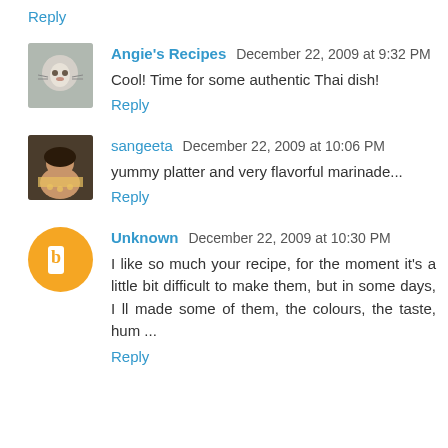Reply
Angie's Recipes  December 22, 2009 at 9:32 PM
Cool! Time for some authentic Thai dish!
Reply
sangeeta  December 22, 2009 at 10:06 PM
yummy platter and very flavorful marinade...
Reply
Unknown  December 22, 2009 at 10:30 PM
I like so much your recipe, for the moment it's a little bit difficult to make them, but in some days, I ll made some of them, the colours, the taste, hum ...
Reply